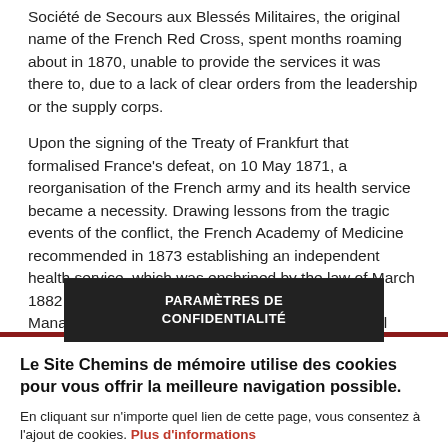Société de Secours aux Blessés Militaires, the original name of the French Red Cross, spent months roaming about in 1870, unable to provide the services it was there to, due to a lack of clear orders from the leadership or the supply corps.
Upon the signing of the Treaty of Frankfurt that formalised France's defeat, on 10 May 1871, a reorganisation of the French army and its health service became a necessity. Drawing lessons from the tragic events of the conflict, the French Academy of Medicine recommended in 1873 establishing an independent health service, which was enshrined by the law of March 1882 and completed by the law of 1 July 1889. Management of [obscured] assigned to the medical corp[obscured] ne, and the
PARAMÈTRES DE CONFIDENTIALITÉ
Le Site Chemins de mémoire utilise des cookies pour vous offrir la meilleure navigation possible.
En cliquant sur n'importe quel lien de cette page, vous consentez à l'ajout de cookies. Plus d'informations
ACCEPTER | NON, MERCI.